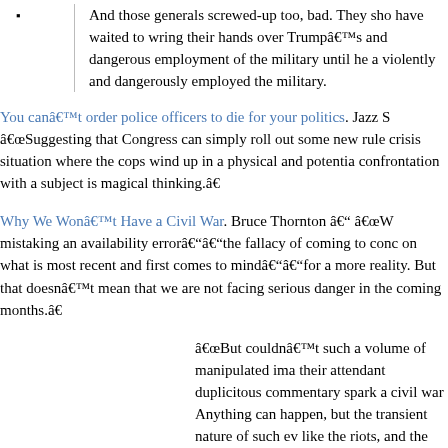And those generals screwed-up too, bad. They sho have waited to wring their hands over Trumpâs and dangerous employment of the military until he a violently and dangerously employed the military.
You canât order police officers to die for your politics. Jazz S “Suggesting that Congress can simply roll out some new rule crisis situation where the cops wind up in a physical and potentia confrontation with a subject is magical thinking.”
Why We Wonât Have a Civil War. Bruce Thornton â “W mistaking an availability errorââthe fallacy of coming to conc on what is most recent and first comes to mindââfor a more reality. But that doesnât mean that we are not facing serious danger in the coming months.”
“But couldnât such a volume of manipulated ima their attendant duplicitous commentary spark a civil war Anything can happen, but the transient nature of such ev like the riots, and the short attention-spans of most view argue against it.